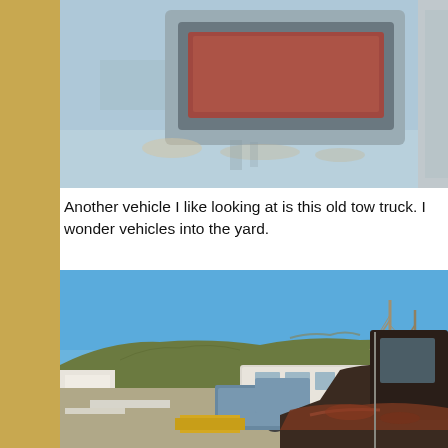[Figure (photo): Close-up photo of a rusted/weathered rectangular emblem or badge on a faded blue metal surface, with peeling paint and rust around the edges.]
Another vehicle I like looking at is this old tow truck. I wonder vehicles into the yard.
[Figure (photo): Outdoor junkyard scene under a clear blue sky. An old rusty tow truck (dark colored) is in the foreground. In the background are other vehicles including a white RV/camper van, an older blue pickup truck, trees, and a rocky hill.]